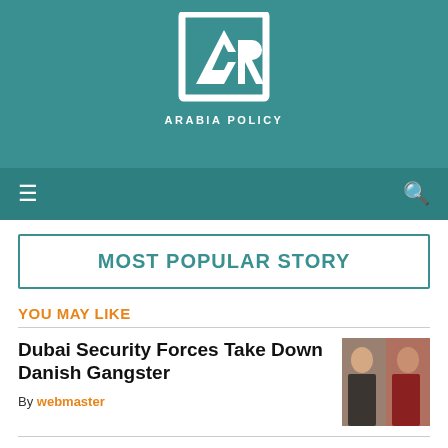[Figure (logo): Arabia Policy logo: white square outline with stylized 'AP' letters and text 'ARABIA POLICY' below, on teal background]
Menu | Search
MOST POPULAR STORY
YOU MAY LIKE
Dubai Security Forces Take Down Danish Gangster
By webmaster
[Figure (photo): Photo of two men, one in a dark jacket and one in a red shirt, against a light background]